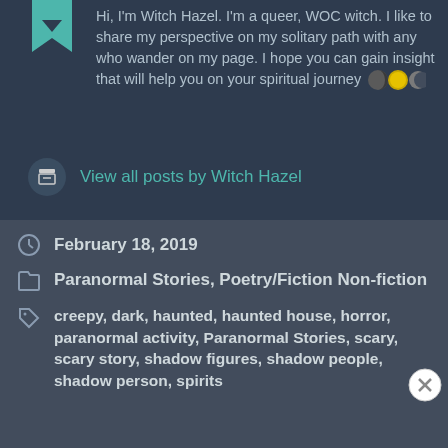Hi, I'm Witch Hazel. I'm a queer, WOC witch. I like to share my perspective on my solitary path with any who wander on my page. I hope you can gain insight that will help you on your spiritual journey 🌑🌕🌑
View all posts by Witch Hazel
February 18, 2019
Paranormal Stories, Poetry/Fiction Non-fiction
creepy, dark, haunted, haunted house, horror, paranormal activity, Paranormal Stories, scary, scary story, shadow figures, shadow people, shadow person, spirits
Advertisements
[Figure (screenshot): DuckDuckGo advertisement banner: orange section reading 'Search, browse, and email with more privacy. All in One Free App' and black section with DuckDuckGo duck logo and text 'DuckDuckGo']